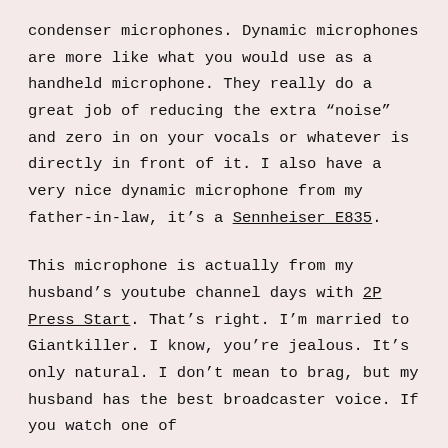condenser microphones. Dynamic microphones are more like what you would use as a handheld microphone. They really do a great job of reducing the extra “noise” and zero in on your vocals or whatever is directly in front of it. I also have a very nice dynamic microphone from my father-in-law, it’s a Sennheiser E835.
This microphone is actually from my husband’s youtube channel days with 2P Press Start. That’s right. I’m married to Giantkiller. I know, you’re jealous. It’s only natural. I don’t mean to brag, but my husband has the best broadcaster voice. If you watch one of